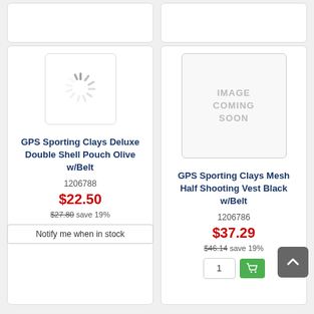[Figure (screenshot): Partial top row of two product cards, cropped at top]
[Figure (screenshot): Loading spinner placeholder image for GPS Sporting Clays Deluxe Double Shell Pouch Olive w/Belt]
GPS Sporting Clays Deluxe Double Shell Pouch Olive w/Belt
1206788
$22.50
$27.80 save 19%
Notify me when in stock
[Figure (screenshot): IMAGE COMING SOON placeholder for GPS Sporting Clays Mesh Half Shooting Vest Black w/Belt]
GPS Sporting Clays Mesh Half Shooting Vest Black w/Belt
1206786
$37.29
$46.14 save 19%
1